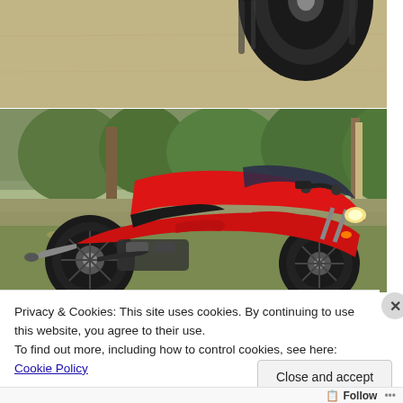[Figure (photo): Partial view of a motorcycle tire/wheel on concrete ground, top portion cropped]
[Figure (photo): Red sport motorcycle (similar to Kawasaki Ninja 250) parked on grass/gravel with trees and fence in background]
Privacy & Cookies: This site uses cookies. By continuing to use this website, you agree to their use.
To find out more, including how to control cookies, see here: Cookie Policy
Close and accept
Follow